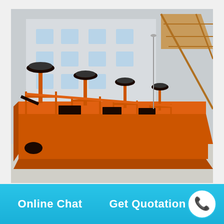[Figure (photo): A large orange industrial flotation machine (mineral processing equipment) with multiple impeller/agitator units on top, photographed outdoors in a factory yard with a grey industrial building in the background and a crane structure visible on the right.]
Online Chat
Get Quotation